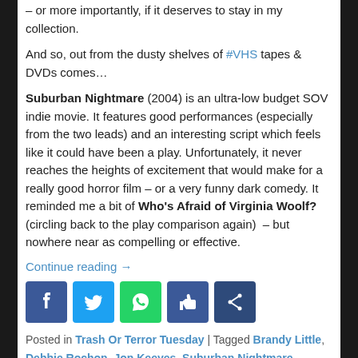– or more importantly, if it deserves to stay in my collection.
And so, out from the dusty shelves of #VHS tapes & DVDs comes…
Suburban Nightmare (2004) is an ultra-low budget SOV indie movie. It features good performances (especially from the two leads) and an interesting script which feels like it could have been a play. Unfortunately, it never reaches the heights of excitement that would make for a really good horror film – or a very funny dark comedy. It reminded me a bit of Who's Afraid of Virginia Woolf? (circling back to the play comparison again)  – but nowhere near as compelling or effective.
Continue reading →
[Figure (infographic): Social media sharing icons: Facebook (blue), Twitter (light blue), WhatsApp (green), Like/thumbs-up (blue), Share (dark blue)]
Posted in Trash Or Terror Tuesday | Tagged Brandy Little, Debbie Rochon, Jon Keeyes, Suburban Nightmare,